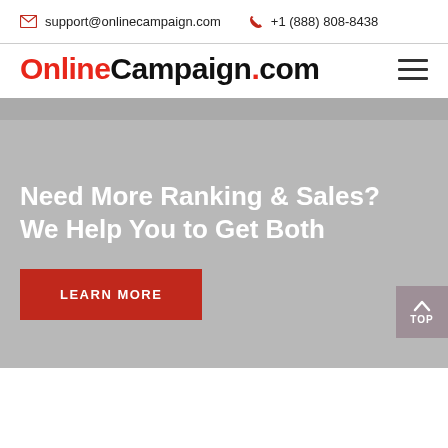support@onlinecampaign.com   +1 (888) 808-8438
OnlineCampaign.com
Need More Ranking & Sales? We Help You to Get Both
LEARN MORE